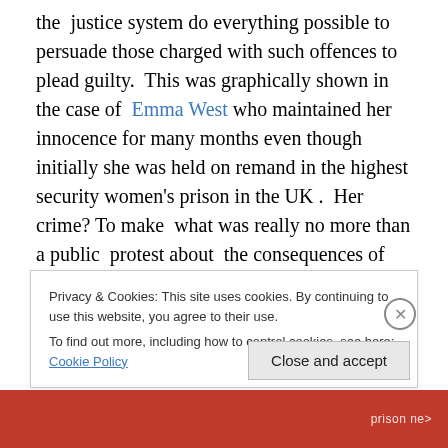the justice system do everything possible to persuade those charged with such offences to plead guilty. This was graphically shown in the case of Emma West who maintained her innocence for many months even though initially she was held on remand in the highest security women's prison in the UK . Her crime? To make what was really no more than a public protest about the consequences of mass immigration. Eventually, she pleaded guilty to lesser charges after the stress got to her, not least the fear that her young son would be taken from her. The outrageous efforts to make her attempt the...
Privacy & Cookies: This site uses cookies. By continuing to use this website, you agree to their use. To find out more, including how to control cookies, see here: Cookie Policy